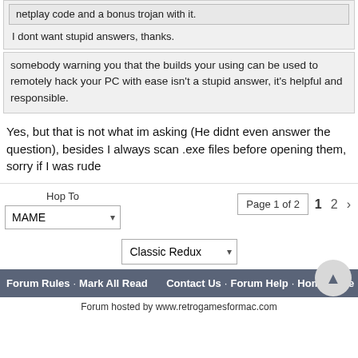netplay code and a bonus trojan with it.
I dont want stupid answers, thanks.
somebody warning you that the builds your using can be used to remotely hack your PC with ease isn't a stupid answer, it's helpful and responsible.
Yes, but that is not what im asking (He didnt even answer the question), besides I always scan .exe files before opening them, sorry if I was rude
Hop To
MAME
Page 1 of 2  1  2  ›
Classic Redux
Forum Rules · Mark All Read    Contact Us · Forum Help · Home Page
Forum hosted by www.retrogamesformac.com